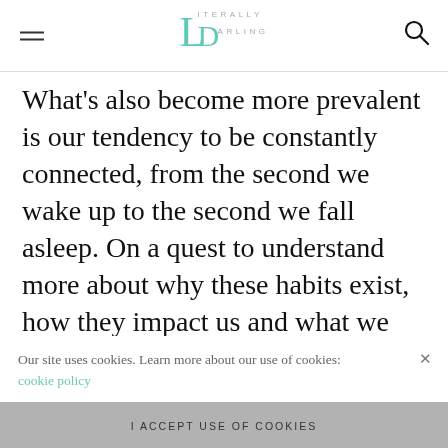Literally Darling — navigation header with hamburger menu and search icon
What's also become more prevalent is our tendency to be constantly connected, from the second we wake up to the second we fall asleep. On a quest to understand more about why these habits exist, how they impact us and what we can do about [them, we spoke to the] nation's [leading experts and cond]ucted a
Our site uses cookies. Learn more about our use of cookies: cookie policy
I ACCEPT USE OF COOKIES